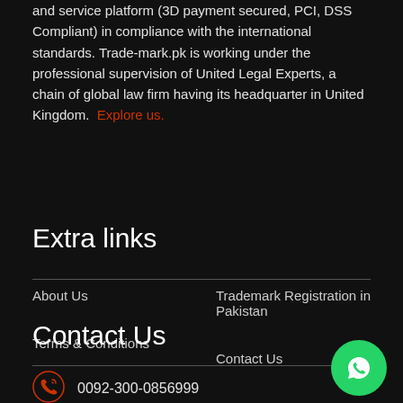and service platform (3D payment secured, PCI, DSS Compliant) in compliance with the international standards. Trade-mark.pk is working under the professional supervision of United Legal Experts, a chain of global law firm having its headquarter in United Kingdom. Explore us.
Extra links
About Us
Trademark Registration in Pakistan
Terms & Conditions
Contact Us
Contact Us
0092-300-0856999